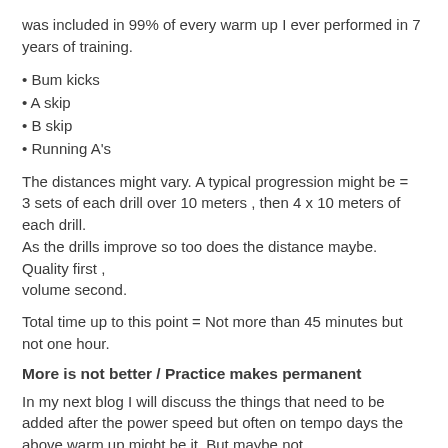was included in 99% of every warm up I ever performed in 7 years of training.
• Bum kicks
• A skip
• B skip
• Running A's
The distances might vary. A typical progression might be = 3 sets of each drill over 10 meters , then 4 x 10 meters of each drill. As the drills improve so too does the distance maybe. Quality first , volume second.
Total time up to this point = Not more than 45 minutes but not one hour.
More is not better / Practice makes permanent
In my next blog I will discuss the things that need to be added after the power speed but often on tempo days the above warm up might be it. But maybe not.
Often on tempo days I would all the above, starting being